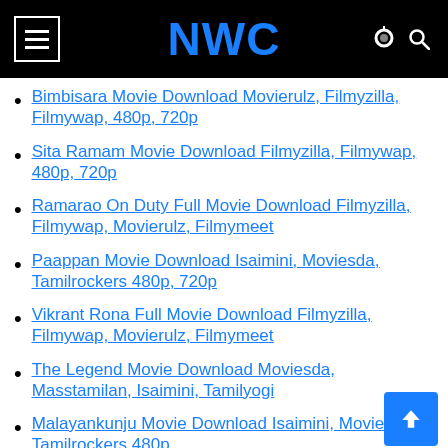NWC
Bimbisara Movie Download Movierulz, Filmyzilla, Filmywap, 480p, 720p
Sita Ramam Movie Download Filmyzilla, Filmywap, 480p, 720p
Ramarao On Duty Full Movie Download Filmyzilla, Filmywap, Movierulz, Filmymeet
Paappan Movie Download Isaimini, Moviesda, Tamilrockers 480p, 720p
Vikrant Rona Full Movie Download Filmyzilla, Filmywap, Movierulz, Filmymeet
The Legend Movie Download Moviesda, Masstamilan, Isaimini, Tamilyogi
Malayankunju Movie Download Isaimini, Moviesda, Tamilrockers 480p